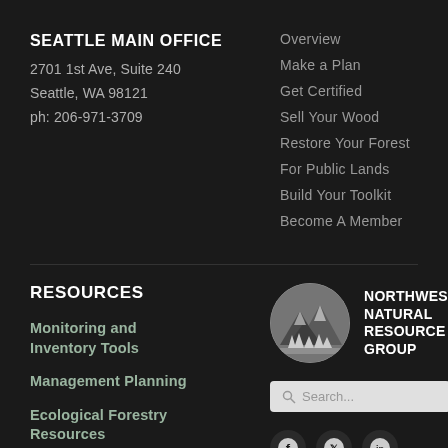SEATTLE MAIN OFFICE
2701 1st Ave, Suite 240
Seattle, WA 98121
ph: 206-971-3709
Overview
Make a Plan
Get Certified
Sell Your Wood
Restore Your Forest
For Public Lands
Build Your Toolkit
Become A Member
RESOURCES
Monitoring and Inventory Tools
Management Planning
Ecological Forestry Resources
[Figure (logo): Circular logo with mountain and trees silhouette in grayscale]
NORTHWEST NATURAL RESOURCE GROUP
Search...